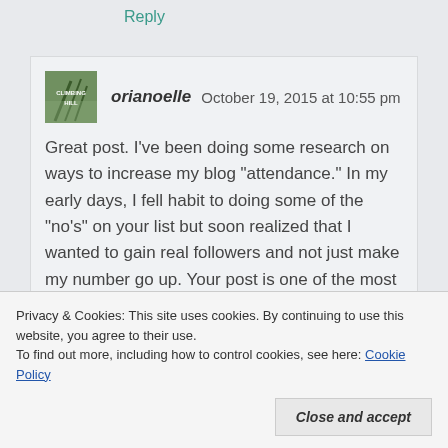Reply
[Figure (photo): Small square avatar image showing a wooded forest path with text overlay reading 'CLIMBING HILL']
orianoelle   October 19, 2015 at 10:55 pm
Great post. I’ve been doing some research on ways to increase my blog “attendance.” In my early days, I fell habit to doing some of the “no’s” on your list but soon realized that I wanted to gain real followers and not just make my number go up. Your post is one of the most helpful I’ve read in some time. Time to kick my butt into gear with the 33% Rule. Thanks
Privacy & Cookies: This site uses cookies. By continuing to use this website, you agree to their use.
To find out more, including how to control cookies, see here: Cookie Policy
Close and accept